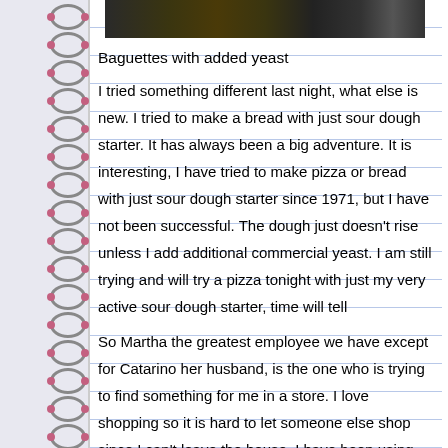[Figure (photo): Partial photo of what appears to be baguettes or bread, dark tones, cropped at top of page]
Baguettes with added yeast
I tried something different last night, what else is new. I tried to make a bread with just sour dough starter. It has always been a big adventure. It is interesting, I have tried to make pizza or bread with just sour dough starter since 1971, but I have not been successful. The dough just doesn't rise unless I add additional commercial yeast. I am still trying and will try a pizza tonight with just my very active sour dough starter, time will tell
So Martha the greatest employee we have except for Catarino her husband, is the one who is trying to find something for me in a store. I love shopping so it is hard to let someone else shop since I can't leave the house. I have been using something she got for me that I did not want, but you know sometimes you get what you need..........it is a Stone, but one they have made for years, just their plain IPA. I wanted their higher alcohol beer with more hops, but this is what I need, not as heavy and less alcohol so thank you Martha.